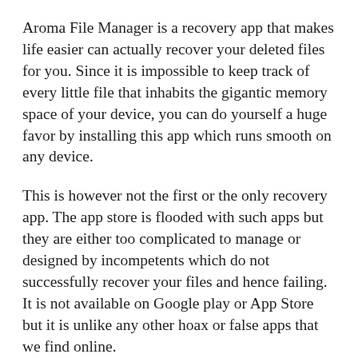Aroma File Manager is a recovery app that makes life easier can actually recover your deleted files for you. Since it is impossible to keep track of every little file that inhabits the gigantic memory space of your device, you can do yourself a huge favor by installing this app which runs smooth on any device.
This is however not the first or the only recovery app. The app store is flooded with such apps but they are either too complicated to manage or designed by incompetents which do not successfully recover your files and hence failing. It is not available on Google play or App Store but it is unlike any other hoax or false apps that we find online.
Aroma stands for 'Amarullz Android ROM Manifestation'. It was conceived originally in Indonesia. For those of you who are still not clear